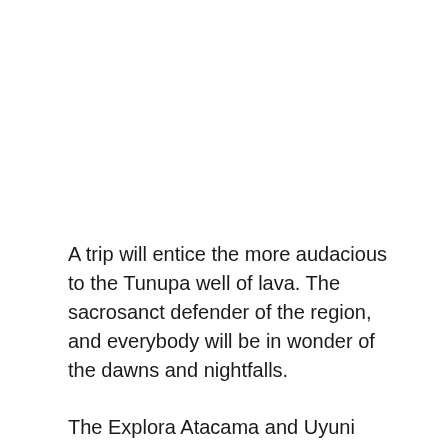A trip will entice the more audacious to the Tunupa well of lava. The sacrosanct defender of the region, and everybody will be in wonder of the dawns and nightfalls.
The Explora Atacama and Uyuni Journey agenda will offer voyagers three new Explora facilities: two asylums and a hotel. These are situated in the Andesffer...